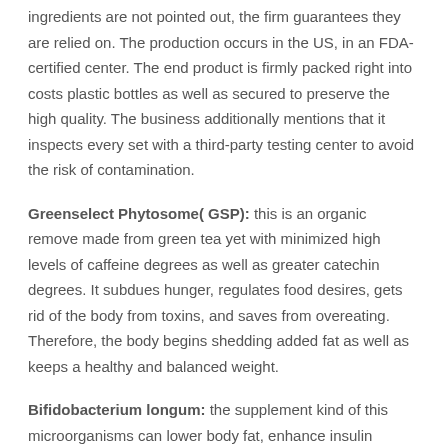ingredients are not pointed out, the firm guarantees they are relied on. The production occurs in the US, in an FDA-certified center. The end product is firmly packed right into costs plastic bottles as well as secured to preserve the high quality. The business additionally mentions that it inspects every set with a third-party testing center to avoid the risk of contamination.
Greenselect Phytosome( GSP): this is an organic remove made from green tea yet with minimized high levels of caffeine degrees as well as greater catechin degrees. It subdues hunger, regulates food desires, gets rid of the body from toxins, and saves from overeating. Therefore, the body begins shedding added fat as well as keeps a healthy and balanced weight.
Bifidobacterium longum: the supplement kind of this microorganisms can lower body fat, enhance insulin feedback, control blood pressure and change metabolic process entirely.